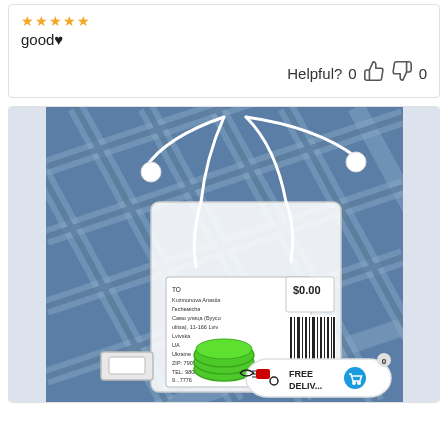good♥
Helpful? 0 👍 👎 0
[Figure (photo): Photo of white earphones/earbuds with packaging bag showing a shipping label addressed to Kuzmonova Anasiia, Ukraine, ZIP 79052, TEL 980842776, and a green cable protector/organizer, on a blue plaid fabric background. A free delivery badge overlay is visible in the bottom right corner.]